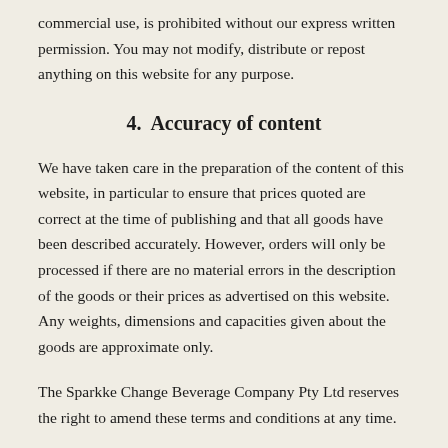commercial use, is prohibited without our express written permission. You may not modify, distribute or repost anything on this website for any purpose.
4. Accuracy of content
We have taken care in the preparation of the content of this website, in particular to ensure that prices quoted are correct at the time of publishing and that all goods have been described accurately. However, orders will only be processed if there are no material errors in the description of the goods or their prices as advertised on this website. Any weights, dimensions and capacities given about the goods are approximate only.
The Sparkke Change Beverage Company Pty Ltd reserves the right to amend these terms and conditions at any time.
5. Damage to your computer
We work to ensure that this website is free from viruses or defects. However, it is your responsibility to ensure that the right hard...